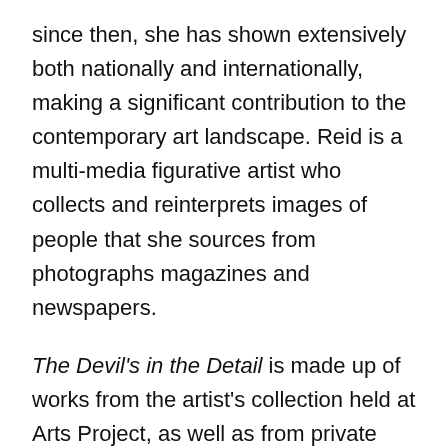since then, she has shown extensively both nationally and internationally, making a significant contribution to the contemporary art landscape. Reid is a multi-media figurative artist who collects and reinterprets images of people that she sources from photographs magazines and newspapers.
The Devil's in the Detail is made up of works from the artist's collection held at Arts Project, as well as from private collections from across Australia, including a selection from the private collection of renowned art collector Peter Fay.